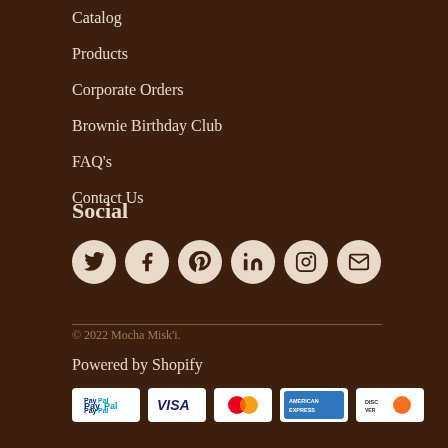Catalog
Products
Corporate Orders
Brownie Birthday Club
FAQ's
Contact Us
Social
[Figure (infographic): Social media icons: Twitter, Facebook, Pinterest, LinkedIn, Instagram, Email]
© 2022 Mocha Misk'i.
Powered by Shopify
[Figure (other): Payment method icons: PayPal, Visa, MasterCard, American Express, Discover]